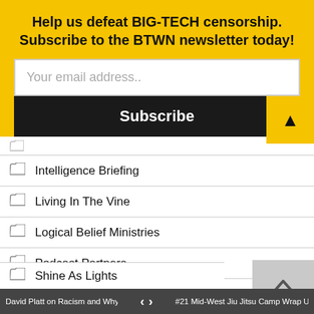Help us defeat BIG-TECH censorship. Subscribe to the BTWN newsletter today!
Your email address..
Subscribe
Intelligence Briefing
Living In The Vine
Logical Belief Ministries
Podcast Partners
Polemics Report
Semper Reformanda Radio
Shine As Lights
David Platt on Racism and Why Your Ch...  <  >  #21 Mid-West Jiu Jitsu Camp Wrap Up |...